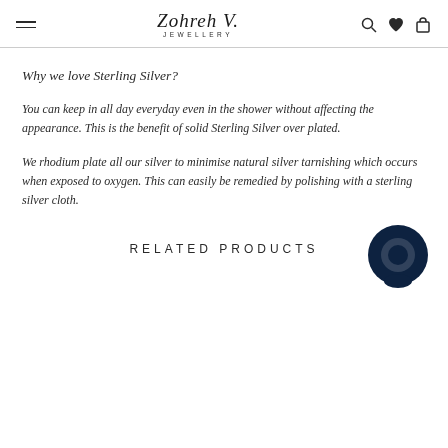Zohreh V. JEWELLERY
Why we love Sterling Silver?
You can keep in all day everyday even in the shower without affecting the appearance. This is the benefit of solid Sterling Silver over plated.
We rhodium plate all our silver to minimise natural silver tarnishing which occurs when exposed to oxygen. This can easily be remedied by polishing with a sterling silver cloth.
RELATED PRODUCTS
[Figure (other): Chat bubble icon — dark navy circular speech bubble icon in the bottom right corner]